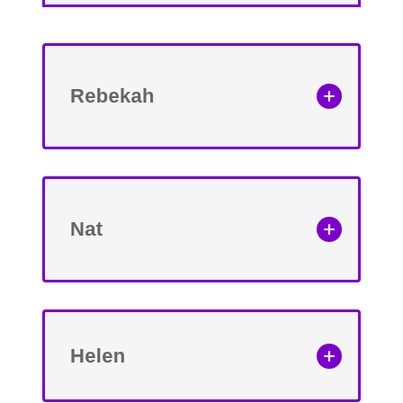(partial card at top)
Rebekah
Nat
Helen
Sarah
Gwenny